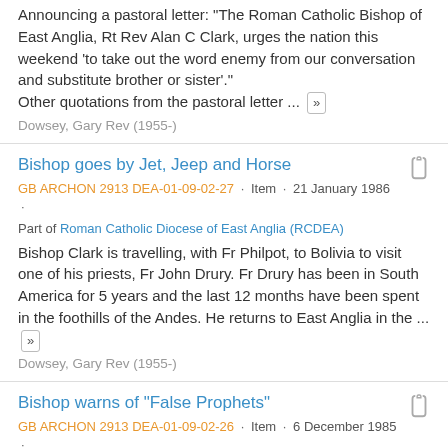Announcing a pastoral letter: "The Roman Catholic Bishop of East Anglia, Rt Rev Alan C Clark, urges the nation this weekend 'to take out the word enemy from our conversation and substitute brother or sister'." Other quotations from the pastoral letter ...
Dowsey, Gary Rev (1955-)
Bishop goes by Jet, Jeep and Horse
GB ARCHON 2913 DEA-01-09-02-27 · Item · 21 January 1986 · Part of Roman Catholic Diocese of East Anglia (RCDEA)
Bishop Clark is travelling, with Fr Philpot, to Bolivia to visit one of his priests, Fr John Drury. Fr Drury has been in South America for 5 years and the last 12 months have been spent in the foothills of the Andes. He returns to East Anglia in the ...
Dowsey, Gary Rev (1955-)
Bishop warns of "False Prophets"
GB ARCHON 2913 DEA-01-09-02-26 · Item · 6 December 1985 · Part of Roman Catholic Diocese of East Anglia (RCDEA)
Pastoral letter [not present]
Bishop's Christmas message to be read at all churches in the diocese on Sunday, December 8th.
Dowsey, Gary Rev (1955-)